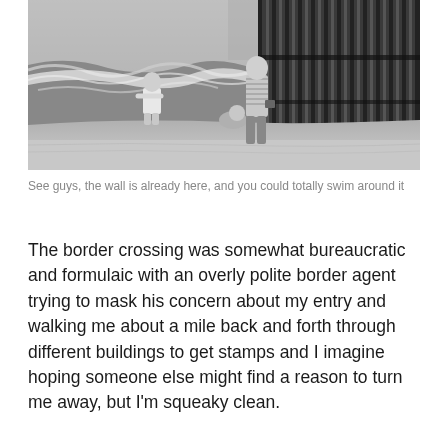[Figure (photo): Black and white photograph of people standing near a tall vertical border wall/fence where it meets the ocean. Waves are visible, with a child standing in the water and two other figures on the beach near the wall.]
See guys, the wall is already here, and you could totally swim around it
The border crossing was somewhat bureaucratic and formulaic with an overly polite border agent trying to mask his concern about my entry and walking me about a mile back and forth through different buildings to get stamps and I imagine hoping someone else might find a reason to turn me away, but I'm squeaky clean.